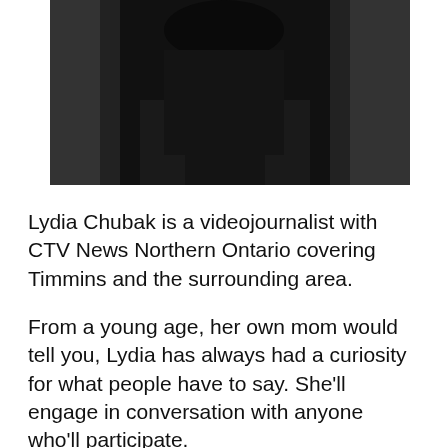[Figure (photo): Cropped photo of a person wearing dark clothing, mostly showing torso/shoulders area against a dark background. Top portion of the image visible.]
Lydia Chubak is a videojournalist with CTV News Northern Ontario covering Timmins and the surrounding area.
From a young age, her own mom would tell you, Lydia has always had a curiosity for what people have to say. She'll engage in conversation with anyone who'll participate.
In the early 90s, she studied English Literature for two years at Ottawa University and then transferred to the Broadcast Journalism Program at Canadore College. During that time she read weekend news on North Bay's CHCH/CKAT radio. Upon graduation, jobs in the business were tough to get. Her last words to her teachers were: "I'll move